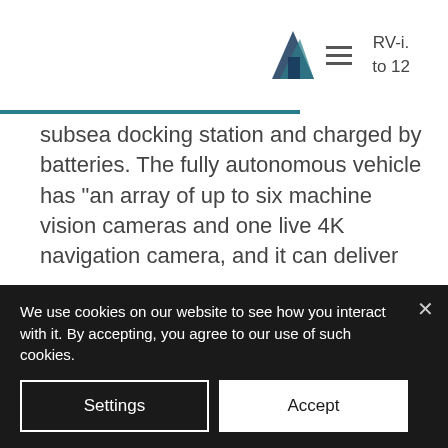RV-i. to 12
subsea docking station and charged by batteries. The fully autonomous vehicle has “an array of up to six machine vision cameras and one live 4K navigation camera, and it can deliver 17,000 lumens of lighting for high quality observation underwater.” The ROV can also be piloted remotely over with a digital twin plus optical sensors. It’s well suited to underwater observations and inspections for energy, oil and gas,
We use cookies on our website to see how you interact with it. By accepting, you agree to our use of such cookies.